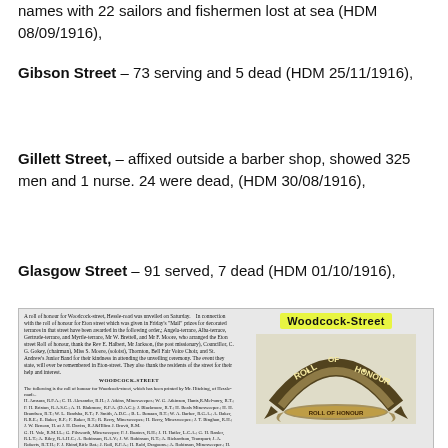names with 22 sailors and fishermen lost at sea (HDM 08/09/1916),
Gibson Street – 73 serving and 5 dead (HDM 25/11/1916),
Gillett Street, – affixed outside a barber shop, showed 325 men and 1 nurse. 24 were dead, (HDM 30/08/1916),
Glasgow Street – 91 served, 7 dead (HDM 01/10/1916),
[Figure (photo): Newspaper clipping showing a Roll of Honour for Woodcock Street, Hessle Road, with a decorative banner reading ROLL OF HONOUR and a highlighted label 'Woodcock-Street'. The left column contains small-print newspaper text listing names on the roll of honour. The right side shows a decorative arch with the text ROLL OF HONOUR.]